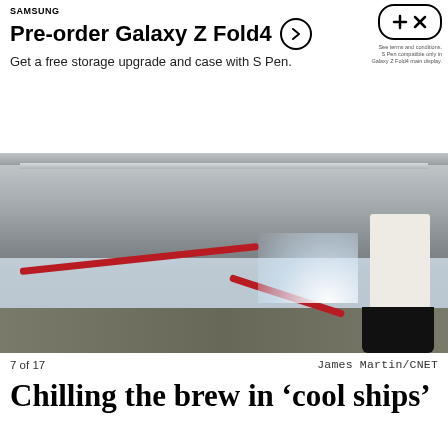[Figure (other): Samsung advertisement banner: Pre-order Galaxy Z Fold4, Get a free storage upgrade and case with S Pen. Includes circle arrow button, plus/X badge icon, and fine print about terms and S Pen compatibility.]
[Figure (photo): A worker in a brewery wearing white coat and black rubber boots, hosing down a large stainless steel cool ship (flat open fermenting vessel) with a red hose, water spraying across the floor.]
7 of 17				James Martin/CNET
Chilling the brew in ‘cool ships’
Searching for a way to cool the beer in the early, refrigerator-deprived days of the brewery, it’s a cornerstone of the brewing and